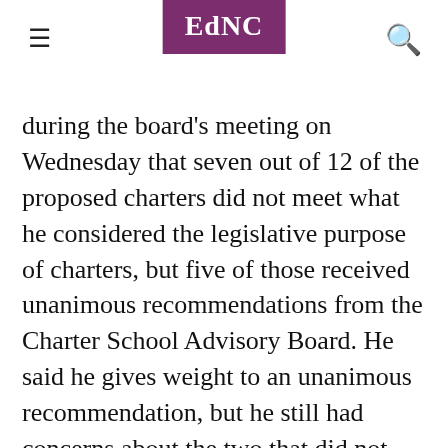EdNC
during the board's meeting on Wednesday that seven out of 12 of the proposed charters did not meet what he considered the legislative purpose of charters, but five of those received unanimous recommendations from the Charter School Advisory Board. He said he gives weight to an unanimous recommendation, but he still had concerns about the two that did not receive that unanimous endorsement: Wake Preparatory Academy and North Raleigh Charter Academy.
Those two were sent back to the Charter School